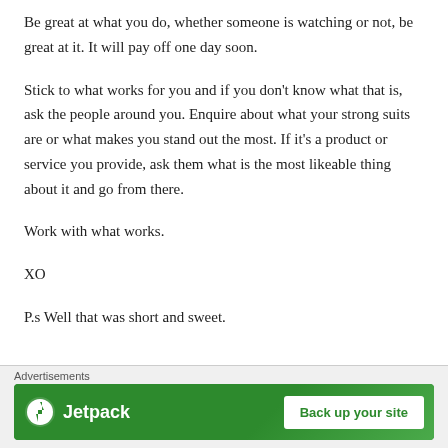Be great at what you do, whether someone is watching or not, be great at it. It will pay off one day soon.
Stick to what works for you and if you don't know what that is, ask the people around you. Enquire about what your strong suits are or what makes you stand out the most. If it's a product or service you provide, ask them what is the most likeable thing about it and go from there.
Work with what works.
XO
P.s Well that was short and sweet.
Advertisements
[Figure (other): Jetpack advertisement banner with logo and 'Back up your site' button on green background]